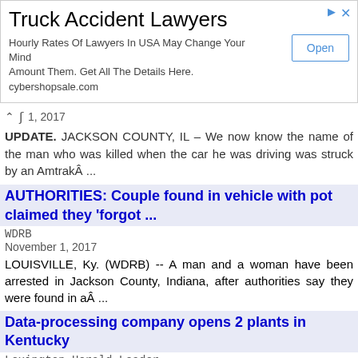[Figure (screenshot): Advertisement banner for Truck Accident Lawyers from cybershopsale.com with an Open button]
1, 2017
UPDATE. JACKSON COUNTY, IL – We now know the name of the man who was killed when the car he was driving was struck by an AmtrakÂ ...
AUTHORITIES: Couple found in vehicle with pot claimed they 'forgot ...
WDRB
November 1, 2017
LOUISVILLE, Ky. (WDRB) -- A man and a woman have been arrested in Jackson County, Indiana, after authorities say they were found in aÂ ...
Data-processing company opens 2 plants in Kentucky
Lexington Herald Leader
November 1, 2017
Senture chairman Bill Deaton says the company expects to house 150 people at the Annville facility in Jackson County and 700 people at theÂ ...
Jackson County police logs for Oct. 29
Dothan Eagle
October 31, 2017